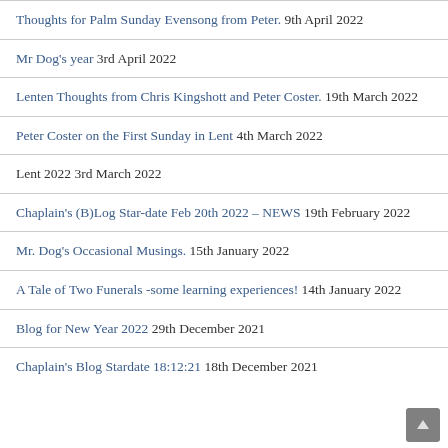Thoughts for Palm Sunday Evensong from Peter. 9th April 2022
Mr Dog's year 3rd April 2022
Lenten Thoughts from Chris Kingshott and Peter Coster. 19th March 2022
Peter Coster on the First Sunday in Lent 4th March 2022
Lent 2022 3rd March 2022
Chaplain's (B)Log Star-date Feb 20th 2022 – NEWS 19th February 2022
Mr. Dog's Occasional Musings. 15th January 2022
A Tale of Two Funerals -some learning experiences! 14th January 2022
Blog for New Year 2022 29th December 2021
Chaplain's Blog Stardate 18:12:21 18th December 2021